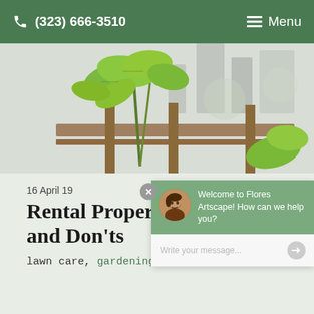(323) 666-3510  Menu
[Figure (photo): Close-up photo of green leafy plants growing on a wooden railing or fence, with a blurred urban background.]
16 April 19
Rental Property Dos and Don'ts
lawn care, gardening, tips & tricks
[Figure (screenshot): Chat widget overlay showing a message 'Welcome to Flores Artscape! How can we help you?' with an avatar photo and a text input field saying 'Write your message...']